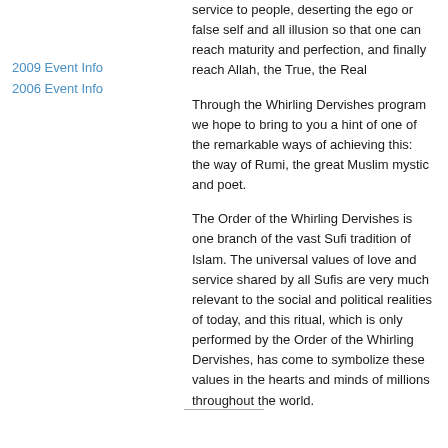service to people, deserting the ego or false self and all illusion so that one can reach maturity and perfection, and finally reach Allah, the True, the Real
2009 Event Info
2006 Event Info
Through the Whirling Dervishes program we hope to bring to you a hint of one of the remarkable ways of achieving this: the way of Rumi, the great Muslim mystic and poet.
The Order of the Whirling Dervishes is one branch of the vast Sufi tradition of Islam. The universal values of love and service shared by all Sufis are very much relevant to the social and political realities of today, and this ritual, which is only performed by the Order of the Whirling Dervishes, has come to symbolize these values in the hearts and minds of millions throughout the world.